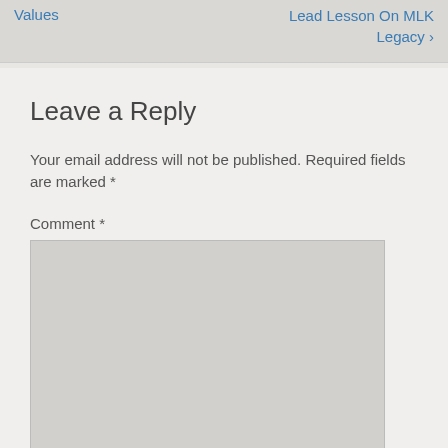Values   Lead Lesson On MLK Legacy ›
Leave a Reply
Your email address will not be published. Required fields are marked *
Comment *
[Figure (screenshot): Empty comment text area input box]